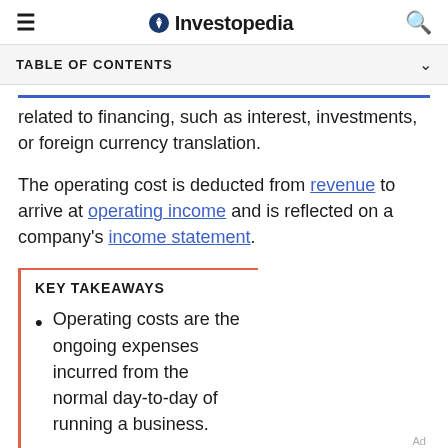Investopedia
TABLE OF CONTENTS
related to financing, such as interest, investments, or foreign currency translation.
The operating cost is deducted from revenue to arrive at operating income and is reflected on a company's income statement.
KEY TAKEAWAYS
Operating costs are the ongoing expenses incurred from the normal day-to-day of running a business.